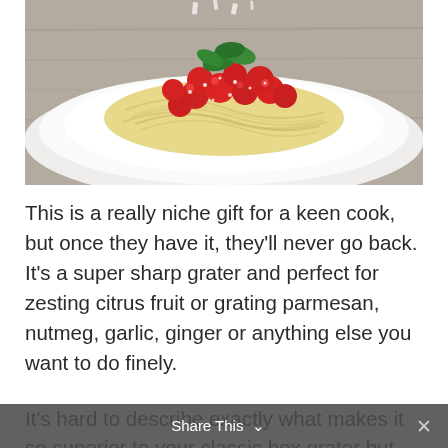[Figure (photo): A plate of spaghetti topped with cherry tomatoes and fresh basil leaves, with parmesan being grated on top. The plate is white and sits on a light wooden surface.]
This is a really niche gift for a keen cook, but once they have it, they'll never go back. It's a super sharp grater and perfect for zesting citrus fruit or grating parmesan, nutmeg, garlic, ginger or anything else you want to do finely.
It's hard to describe exactly what makes it so superior to your classic box grater but everyone who tries it, loves it.
Share This ∨  ×